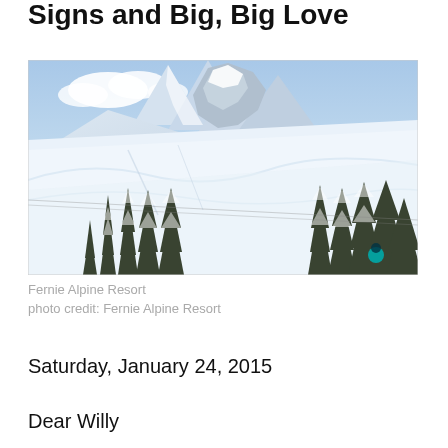Signs and Big, Big Love
[Figure (photo): Snow-covered mountain slopes with dense evergreen trees covered in snow and a skier visible at the lower right; dramatic rocky peaks and blue sky with clouds in the background. Fernie Alpine Resort.]
Fernie Alpine Resort
photo credit: Fernie Alpine Resort
Saturday, January 24, 2015
Dear Willy